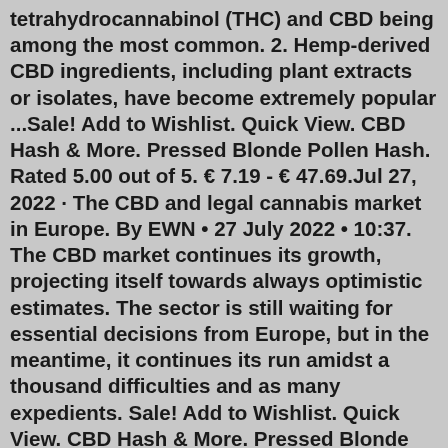tetrahydrocannabinol (THC) and CBD being among the most common. 2. Hemp-derived CBD ingredients, including plant extracts or isolates, have become extremely popular ...Sale! Add to Wishlist. Quick View. CBD Hash & More. Pressed Blonde Pollen Hash. Rated 5.00 out of 5. € 7.19 - € 47.69.Jul 27, 2022 · The CBD and legal cannabis market in Europe. By EWN • 27 July 2022 • 10:37. The CBD market continues its growth, projecting itself towards always optimistic estimates. The sector is still waiting for essential decisions from Europe, but in the meantime, it continues its run amidst a thousand difficulties and as many expedients. Sale! Add to Wishlist. Quick View. CBD Hash & More. Pressed Blonde Pollen Hash. Rated 5.00 out of 5. € 7.19 - € 47.69.Order CBD hash and oil in Frankfurt Buy THC weed in Hamburg. The maryjane plant contains in excess of 100 distinct synthetic substances called cannabinoids. Every one differently affects the body. Delta-9-tetrahydrocannabinol (THC) and cannabidiol (CBD) Order CBD hash and oil in Frankfurt on the